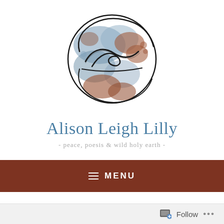[Figure (logo): Circular globe-like logo with watercolor blue and rust/brown tones and a cursive script signature overlaid in black ink]
Alison Leigh Lilly
- peace, poesis & wild holy earth -
≡ MENU
Meadowsweet & Myrrh is now Holy Wild
Follow ...